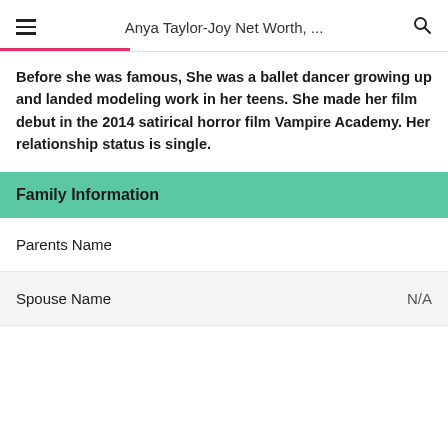Anya Taylor-Joy Net Worth, ...
Before she was famous, She was a ballet dancer growing up and landed modeling work in her teens. She made her film debut in the 2014 satirical horror film Vampire Academy. Her relationship status is single.
| Family Information |
| --- |
| Parents Name |  |
| Spouse Name | N/A |